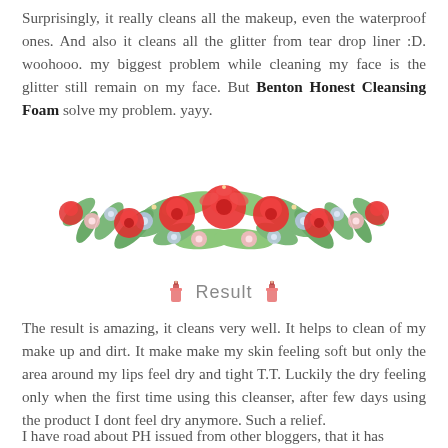Surprisingly, it really cleans all the makeup, even the waterproof ones. And also it cleans all the glitter from tear drop liner :D. woohooo. my biggest problem while cleaning my face is the glitter still remain on my face. But Benton Honest Cleansing Foam solve my problem. yayy.
[Figure (illustration): A decorative floral illustration with red, pink, and blue flowers with green leaves arranged in a horizontal bouquet.]
🧴 Result 🧴
The result is amazing, it cleans very well. It helps to clean of my make up and dirt. It make make my skin feeling soft but only the area around my lips feel dry and tight T.T. Luckily the dry feeling only when the first time using this cleanser, after few days using the product I dont feel dry anymore. Such a relief.
I have road about PH issued from other bloggers, that it has